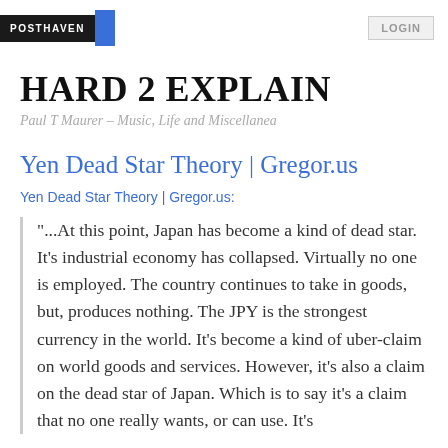POSTHAVEN | LOGIN
HARD 2 EXPLAIN
Paul T Maurer – Music, Life and Miscellanea
Yen Dead Star Theory | Gregor.us
Yen Dead Star Theory | Gregor.us:
"...At this point, Japan has become a kind of dead star. It's industrial economy has collapsed. Virtually no one is employed. The country continues to take in goods, but, produces nothing. The JPY is the strongest currency in the world. It's become a kind of uber-claim on world goods and services. However, it's also a claim on the dead star of Japan. Which is to say it's a claim that no one really wants, or can use. It's